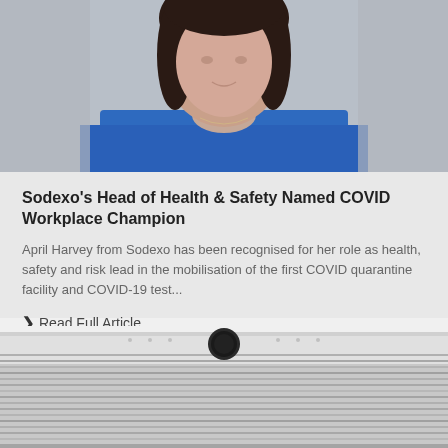[Figure (photo): Portrait photo of a woman with dark hair, wearing a blue top, photographed from shoulders up against a light gray background]
Sodexo's Head of Health & Safety Named COVID Workplace Champion
April Harvey from Sodexo has been recognised for her role as health, safety and risk lead in the mobilisation of the first COVID quarantine facility and COVID-19 test...
❯ Read Full Article
[Figure (photo): Close-up photo of a silver/gray electronic device or appliance, showing horizontal ventilation lines and a circular dark button/element on top]